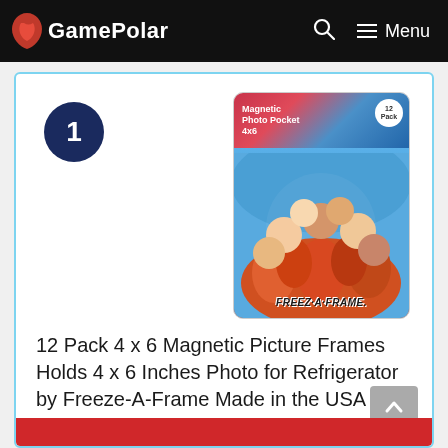GamePolar — Menu
[Figure (photo): Product image of Freeze-A-Frame 12 Pack Magnetic Photo Pocket 4x6, showing children in a circle looking down at the camera]
1
12 Pack 4 x 6 Magnetic Picture Frames Holds 4 x 6 Inches Photo for Refrigerator by Freeze-A-Frame Made in the USA
Freeze A Frame